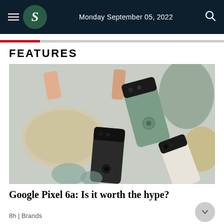S — Monday September 05, 2022
FEATURES
[Figure (photo): Overhead view of multiple Google Pixel 6a smartphones in sage green, charcoal black, and white/coral colors arranged on a light gray surface alongside decorative objects including pillows, wooden blocks, and stone-like objects.]
Google Pixel 6a: Is it worth the hype?
8h | Brands